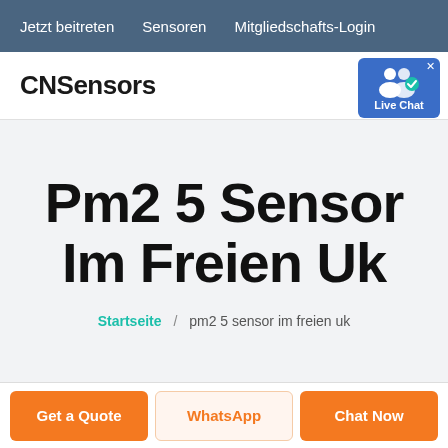Jetzt beitreten   Sensoren   Mitgliedschafts-Login
CNSensors
[Figure (other): Live Chat badge icon with two person silhouettes and a checkmark, blue background]
Pm2 5 Sensor Im Freien Uk
Startseite / pm2 5 sensor im freien uk
Get a Quote   WhatsApp   Chat Now